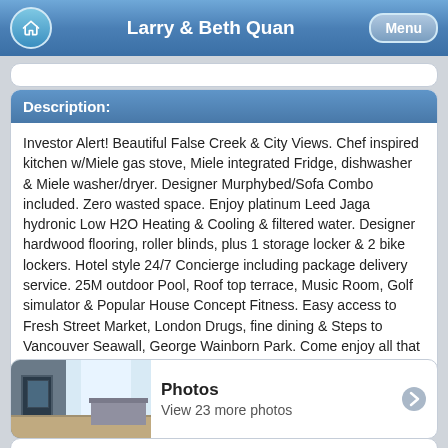Larry & Beth Quan
Description:
Investor Alert! Beautiful False Creek & City Views. Chef inspired kitchen w/Miele gas stove, Miele integrated Fridge, dishwasher & Miele washer/dryer. Designer Murphybed/Sofa Combo included. Zero wasted space. Enjoy platinum Leed Jaga hydronic Low H2O Heating & Cooling & filtered water. Designer hardwood flooring, roller blinds, plus 1 storage locker & 2 bike lockers. Hotel style 24/7 Concierge including package delivery service. 25M outdoor Pool, Roof top terrace, Music Room, Golf simulator & Popular House Concept Fitness. Easy access to Fresh Street Market, London Drugs, fine dining & Steps to Vancouver Seawall, George Wainborn Park. Come enjoy all that Beach District has to offer. Rented $2250 per month starting August 1st 2022. 48 hours notice required.
[Figure (photo): Interior photo of a modern room/bathroom]
Photos
View 23 more photos